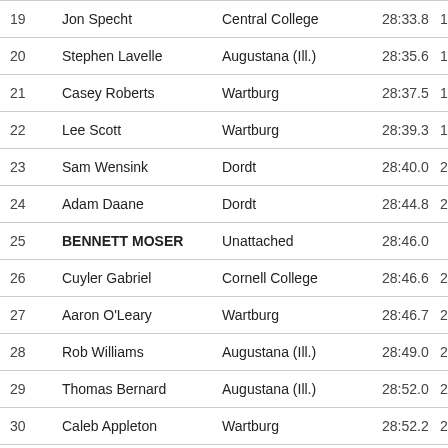| Place | Name | Team | Time | Score |
| --- | --- | --- | --- | --- |
| 19 | Jon Specht | Central College | 28:33.8 | 16 |
| 20 | Stephen Lavelle | Augustana (Ill.) | 28:35.6 | 17 |
| 21 | Casey Roberts | Wartburg | 28:37.5 | 18 |
| 22 | Lee Scott | Wartburg | 28:39.3 | 19 |
| 23 | Sam Wensink | Dordt | 28:40.0 | 20 |
| 24 | Adam Daane | Dordt | 28:44.8 | 21 |
| 25 | BENNETT MOSER | Unattached | 28:46.0 |  |
| 26 | Cuyler Gabriel | Cornell College | 28:46.6 | 22 |
| 27 | Aaron O'Leary | Wartburg | 28:46.7 | 23 |
| 28 | Rob Williams | Augustana (Ill.) | 28:49.0 | 24 |
| 29 | Thomas Bernard | Augustana (Ill.) | 28:52.0 | 25 |
| 30 | Caleb Appleton | Wartburg | 28:52.2 | 26 |
| 31 | Jackson Schulte | Grinnell | 28:55.2 | 27 |